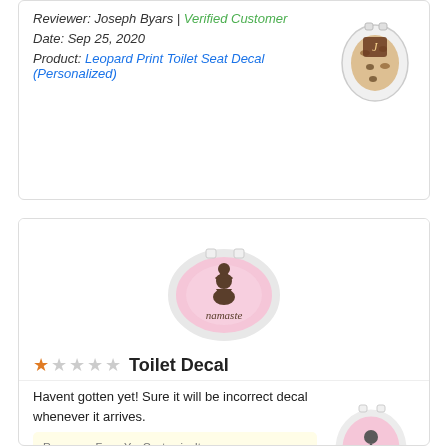Reviewer: Joseph Byars | Verified Customer
Date: Sep 25, 2020
Product: Leopard Print Toilet Seat Decal (Personalized)
[Figure (photo): Leopard Print Toilet Seat Decal product image - small thumbnail]
[Figure (photo): Pink toilet seat with yoga pose figure and 'namaste' text decal]
★☆☆☆☆ Toilet Decal
Havent gotten yet! Sure it will be incorrect decal whenever it arrives.
Response From YouCustomizeIt: We are sorry that you do not have your product yet, but we can assure
[Figure (photo): Pink toilet seat with round pin design and 'rosaline' text decal]